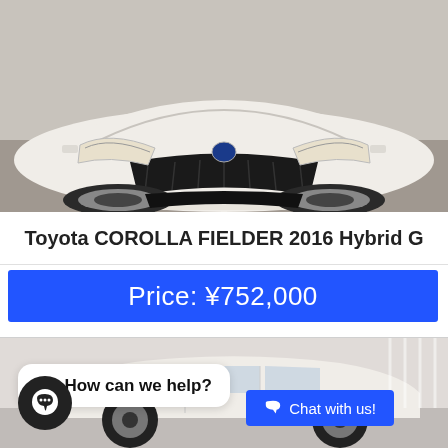[Figure (photo): Front view of a white Toyota Corolla Fielder 2016 Hybrid G in a showroom/garage setting]
Toyota COROLLA FIELDER 2016 Hybrid G
Price: ¥752,000
[Figure (photo): Side view of a white car in a showroom, with a chat widget overlay showing 'How can we help?' bubble, a circular chat icon, and a 'Chat with us!' button]